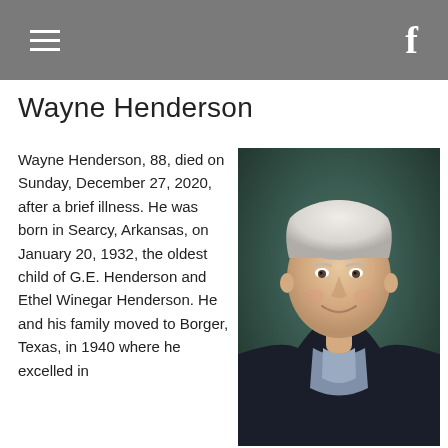≡  f
Wayne Henderson
Wayne Henderson, 88, died on Sunday, December 27, 2020, after a brief illness. He was born in Searcy, Arkansas, on January 20, 1932, the oldest child of G.E. Henderson and Ethel Winegar Henderson. He and his family moved to Borger, Texas, in 1940 where he excelled in
[Figure (photo): Portrait photo of Wayne Henderson, an elderly man with white hair wearing a dark blazer and plaid shirt, smiling, against a dark teal background]